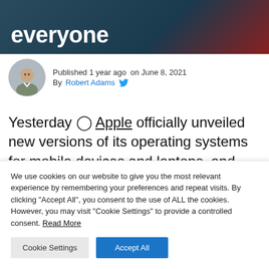everyone
Published 1 year ago  on June 8, 2021
By Robert Adams
Yesterday ◯ Apple officially unveiled new versions of its operating systems for mobile devices and laptops, and now branded wallpapers for iOS 15
We use cookies on our website to give you the most relevant experience by remembering your preferences and repeat visits. By clicking "Accept All", you consent to the use of ALL the cookies. However, you may visit "Cookie Settings" to provide a controlled consent. Read More
Cookie Settings | Accept All